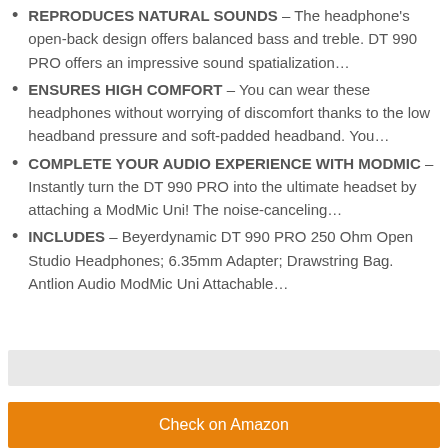REPRODUCES NATURAL SOUNDS – The headphone's open-back design offers balanced bass and treble. DT 990 PRO offers an impressive sound spatialization…
ENSURES HIGH COMFORT – You can wear these headphones without worrying of discomfort thanks to the low headband pressure and soft-padded headband. You…
COMPLETE YOUR AUDIO EXPERIENCE WITH MODMIC – Instantly turn the DT 990 PRO into the ultimate headset by attaching a ModMic Uni! The noise-canceling…
INCLUDES – Beyerdynamic DT 990 PRO 250 Ohm Open Studio Headphones; 6.35mm Adapter; Drawstring Bag. Antlion Audio ModMic Uni Attachable…
Check on Amazon